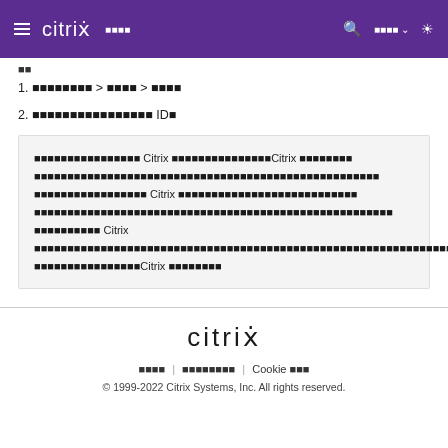citrix ■■■■ [navigation bar with search, language selector, theme toggle]
■■
1. ■■■■■■■■ > ■■■■ > ■■■■
2. ■■■■■■■■■■■■■■■■ ID■
■■■■■■■■■■■■■■■■ Citrix ■■■■■■■■■■■■■■■Citrix ■■■■■■■■■■■■■■■■■■■■■■■■■■■■■■■■■■■■■■■■■■■■■■■■■■■■■■■■■■■■■■■ Citrix ■■■■■■■■■■■■■■■■■■■■■■■■■■■■■■■■■■■■■■■■■■■■■■■■■■■■■■■■■■■■■■ Citrix ■■■■■■■■■■■■■■■■■■■■■■■■■■■■■■■■■■■■■■■■■■■■■■■■■■■■■■■■■■■■■■■■■■■■■■■■■■■■Citrix ■■■■■■■■
citrix | ■■■■ | ■■■■■■■■ | Cookie ■■■ | © 1999-2022 Citrix Systems, Inc. All rights reserved.